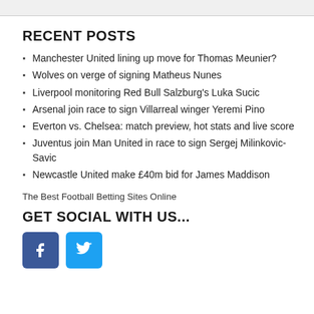RECENT POSTS
Manchester United lining up move for Thomas Meunier?
Wolves on verge of signing Matheus Nunes
Liverpool monitoring Red Bull Salzburg's Luka Sucic
Arsenal join race to sign Villarreal winger Yeremi Pino
Everton vs. Chelsea: match preview, hot stats and live score
Juventus join Man United in race to sign Sergej Milinkovic-Savic
Newcastle United make £40m bid for James Maddison
The Best Football Betting Sites Online
GET SOCIAL WITH US...
[Figure (infographic): Facebook and Twitter social media icon buttons]